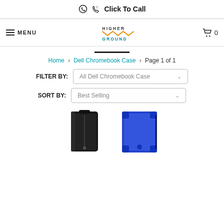📞 Click To Call
≡ MENU | Higher Ground Logo | 🛒 0
Home › Dell Chromebook Case › Page 1 of 1
FILTER BY: All Dell Chromebook Case
SORT BY: Best Selling
[Figure (photo): Two product photos: a black laptop case/sleeve with handle on the left, and a blue rugged chromebook case on the right, both partially visible at the bottom of the page.]